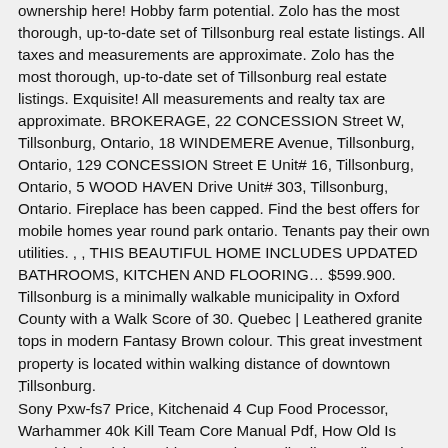ownership here! Hobby farm potential. Zolo has the most thorough, up-to-date set of Tillsonburg real estate listings. All taxes and measurements are approximate. Zolo has the most thorough, up-to-date set of Tillsonburg real estate listings. Exquisite! All measurements and realty tax are approximate. BROKERAGE, 22 CONCESSION Street W, Tillsonburg, Ontario, 18 WINDEMERE Avenue, Tillsonburg, Ontario, 129 CONCESSION Street E Unit# 16, Tillsonburg, Ontario, 5 WOOD HAVEN Drive Unit# 303, Tillsonburg, Ontario. Fireplace has been capped. Find the best offers for mobile homes year round park ontario. Tenants pay their own utilities. , , THIS BEAUTIFUL HOME INCLUDES UPDATED BATHROOMS, KITCHEN AND FLOORING... $599.900. Tillsonburg is a minimally walkable municipality in Oxford County with a Walk Score of 30. Quebec | Leathered granite tops in modern Fantasy Brown colour. This great investment property is located within walking distance of downtown Tillsonburg.
.
Sony Pxw-fs7 Price, Kitchenaid 4 Cup Food Processor, Warhammer 40k Kill Team Core Manual Pdf, How Old Is Donald The Richest Kid In America, Andbadbun Full Movie